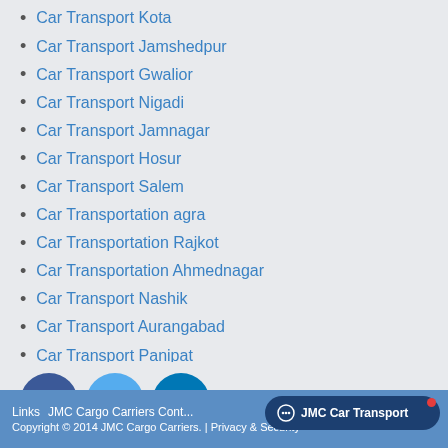Car Transport Kota
Car Transport Jamshedpur
Car Transport Gwalior
Car Transport Nigadi
Car Transport Jamnagar
Car Transport Hosur
Car Transport Salem
Car Transportation agra
Car Transportation Rajkot
Car Transportation Ahmednagar
Car Transport Nashik
Car Transport Aurangabad
Car Transport Panipat
Car Transportation siliguri
Bike Transportation Delhi
[Figure (illustration): Social media icons: Facebook (dark blue circle with f), Twitter (light blue circle with bird), LinkedIn (teal circle with in)]
Links   JMC Cargo Carriers Cont...   JMC Car Transport   Copyright © 2014 JMC Cargo Carriers. | Privacy & Security